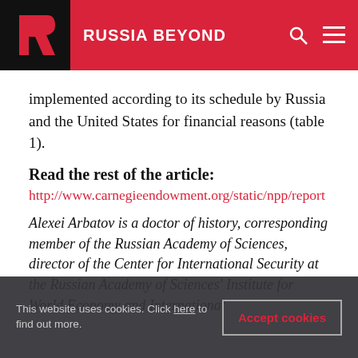RUSSIA BEYOND
implemented according to its schedule by Russia and the United States for financial reasons (table 1).
Read the rest of the article:
http://www.carnegieendowment.org/static/npp/report
Alexei Arbatov is a doctor of history, corresponding member of the Russian Academy of Sciences, director of the Center for International Security at the Russian Academy of Sciences' Institute for World Economy and International...
This website uses cookies. Click here to find out more.